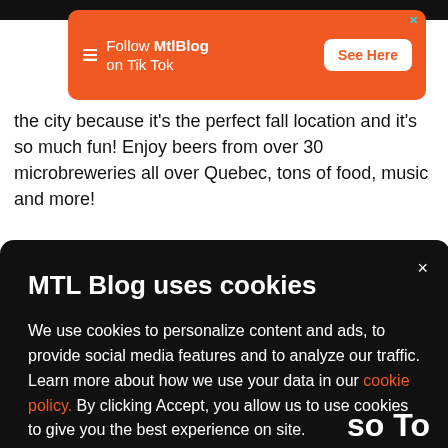[Figure (screenshot): Orange ad banner for MtlBlog TikTok with logo, text 'Follow MtlBlog on Tik Tok', and white 'See Here' button]
the city because it's the perfect fall location and it's so much fun! Enjoy beers from over 30 microbreweries all over Quebec, tons of food, music and more!
MTL Blog uses cookies
We use cookies to personalize content and ads, to provide social media features and to analyze our traffic. Learn more about how we use your data in our cookie policy. By clicking Accept, you allow us to use cookies to give you the best experience on site.
Accept
so To